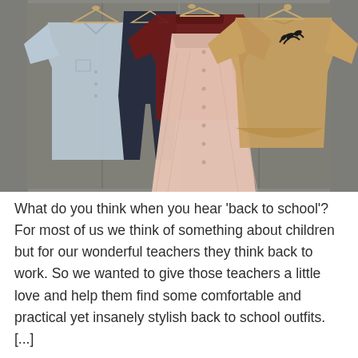[Figure (photo): Photo of clothing items hanging on hangers against a grey wall: a light blue oversized button-up shirt, dark navy trousers, a dark red/burgundy chunky knit sweater, a blush pink button-front midi dress/skirt, and a tan/camel knit sweater with floral embroidery detail.]
What do you think when you hear 'back to school'? For most of us we think of something about children but for our wonderful teachers they think back to work. So we wanted to give those teachers a little love and help them find some comfortable and practical yet insanely stylish back to school outfits. [...]